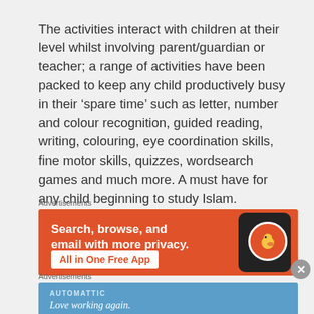The activities interact with children at their level whilst involving parent/guardian or teacher; a range of activities have been packed to keep any child productively busy in their ‘spare time’ such as letter, number and colour recognition, guided reading, writing, colouring, eye coordination skills, fine motor skills, quizzes, wordsearch games and much more. A must have for any child beginning to study Islam.
Advertisements
[Figure (illustration): Orange DuckDuckGo advertisement banner: 'Search, browse, and email with more privacy.' with 'All in One Free App' button and phone graphic showing DuckDuckGo logo]
Advertisements
[Figure (illustration): Blue Automattic advertisement banner with text 'AUTOMATTIC' and 'Love working again.']